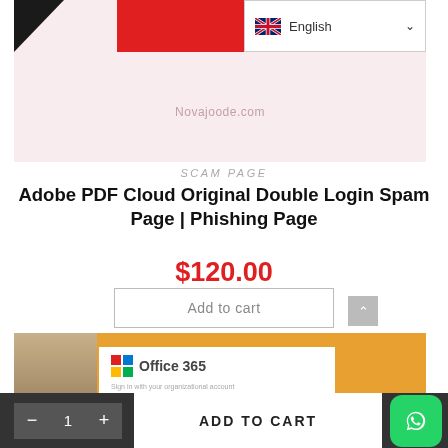[Figure (screenshot): Top portion of a website showing a red banner, English language selector, and a pink/rose background with a URL placeholder 'novajoode.com']
SCAM PAGE
Adobe PDF Cloud Original Double Login Spam Page | Phishing Page
$120.00
Add to cart
[Figure (screenshot): Preview of an Office 365 phishing login page with orange background, showing Office 365 logo, 'Sign in with your organizational account' text, email and password input fields]
ADD TO CART